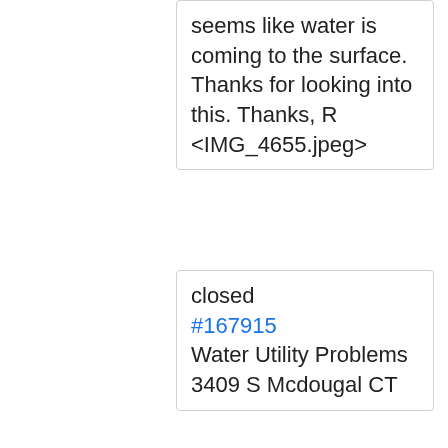seems like water is coming to the surface. Thanks for looking into this. Thanks, R <IMG_4655.jpeg>
closed #167915 Water Utility Problems 3409 S Mcdougal CT